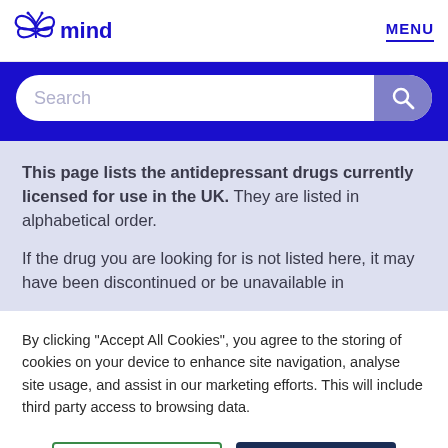[Figure (logo): Mind mental health charity logo with butterfly/leaf icon and 'mind' text in dark blue]
MENU
Search
This page lists the antidepressant drugs currently licensed for use in the UK. They are listed in alphabetical order.

If the drug you are looking for is not listed here, it may have been discontinued or be unavailable in
By clicking “Accept All Cookies”, you agree to the storing of cookies on your device to enhance site navigation, analyse site usage, and assist in our marketing efforts. This will include third party access to browsing data.
Manage my settings
Accept all cookies